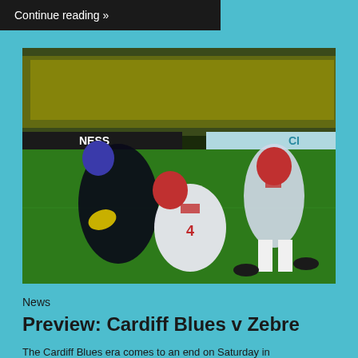Continue reading »
[Figure (photo): Rugby match action photo: a player in a dark jersey carrying the ball is being tackled by a player wearing white jersey with number 4 and a red head guard, while another white-jerseyеd player with a red head guard watches in the background. The match is played at night under stadium lights on a green pitch.]
News
Preview: Cardiff Blues v Zebre
The Cardiff Blues era comes to an end on Saturday in